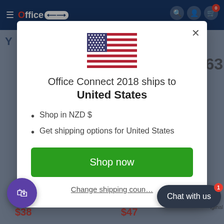Office Connect 2018 — navigation header
[Figure (screenshot): US flag icon centered in modal]
Office Connect 2018 ships to United States
Shop in NZD $
Get shipping options for United States
Shop now
Change shipping country